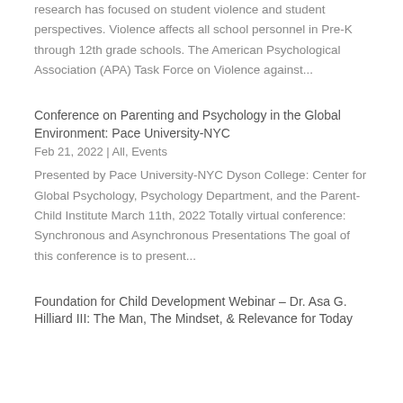research has focused on student violence and student perspectives. Violence affects all school personnel in Pre-K through 12th grade schools. The American Psychological Association (APA) Task Force on Violence against...
Conference on Parenting and Psychology in the Global Environment: Pace University-NYC
Feb 21, 2022 | All, Events
Presented by Pace University-NYC Dyson College: Center for Global Psychology, Psychology Department, and the Parent-Child Institute March 11th, 2022 Totally virtual conference: Synchronous and Asynchronous Presentations The goal of this conference is to present...
Foundation for Child Development Webinar – Dr. Asa G. Hilliard III: The Man, The Mindset, & Relevance for Today